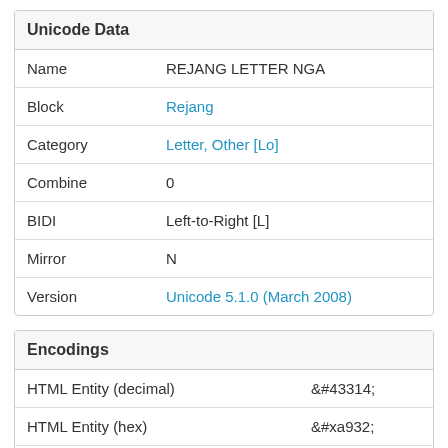| Unicode Data |  |
| --- | --- |
| Name | REJANG LETTER NGA |
| Block | Rejang |
| Category | Letter, Other [Lo] |
| Combine | 0 |
| BIDI | Left-to-Right [L] |
| Mirror | N |
| Version | Unicode 5.1.0 (March 2008) |
| Encodings |  |
| --- | --- |
| HTML Entity (decimal) | &#43314; |
| HTML Entity (hex) | &#xa932; |
| How to type in Microsoft | Alt+A932 |